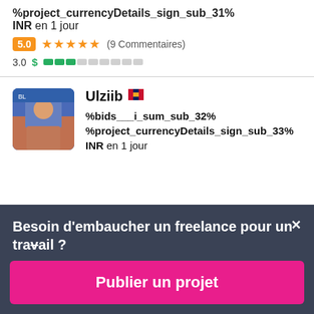%project_currencyDetails_sign_sub_31% INR en 1 jour
5.0 ★★★★★ (9 Commentaires)
3.0 $ ███░░░░░░░
Ulziib 🇲🇳
%bids___i_sum_sub_32% %project_currencyDetails_sign_sub_33% INR en 1 jour
Besoin d'embaucher un freelance pour un travail ?
Publier un projet